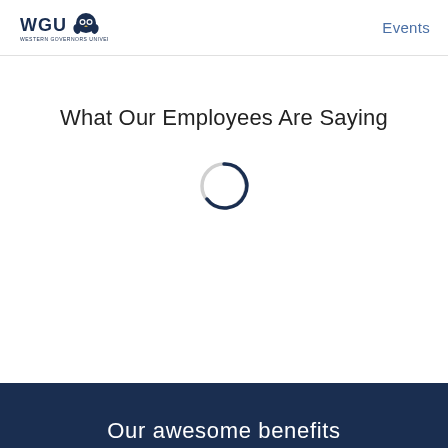WGU Western Governors University | Events
What Our Employees Are Saying
[Figure (other): Circular loading spinner animation indicator, grey ring with dark navy blue partial arc at bottom]
Our awesome benefits